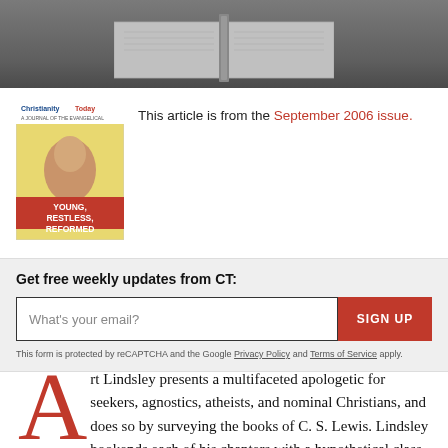[Figure (illustration): Top banner with dark grey background showing a magazine lying open, with spine visible in center]
[Figure (illustration): Christianity Today magazine cover - September 2006 issue, showing 'Young, Restless, Reformed' with a portrait and red title band on yellow background]
This article is from the September 2006 issue.
Get free weekly updates from CT:
What's your email?
SIGN UP
This form is protected by reCAPTCHA and the Google Privacy Policy and Terms of Service apply.
Art Lindsley presents a multifaceted apologetic for seekers, agnostics, atheists, and nominal Christians, and does so by surveying the books of C. S. Lewis. Lindsley bookends each of his chapters with a hypothetical class on the